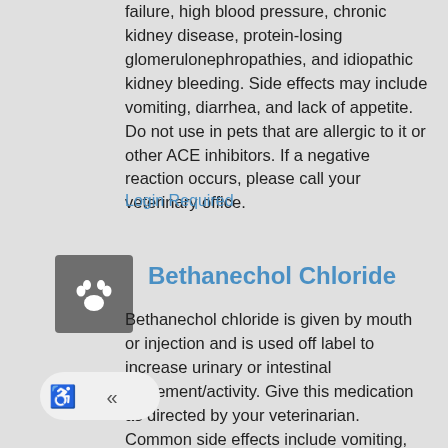failure, high blood pressure, chronic kidney disease, protein-losing glomerulonephropathies, and idiopathic kidney bleeding. Side effects may include vomiting, diarrhea, and lack of appetite. Do not use in pets that are allergic to it or other ACE inhibitors. If a negative reaction occurs, please call your veterinary office.
Login Required
[Figure (illustration): Gray square icon with white paw print silhouette]
Bethanechol Chloride
Bethanechol chloride is given by mouth or injection and is used off label to increase urinary or intestinal movement/activity. Give this medication as directed by your veterinarian. Common side effects include vomiting, diarrhea, drooling, and lack of appetite. Do not use in pets that are allergic to it, or have urinary obstruction, stomach ulcers, gastrointestinal obstructions,
[Figure (illustration): Accessibility icons: wheelchair symbol and double left arrow symbol on light rounded rectangle background]